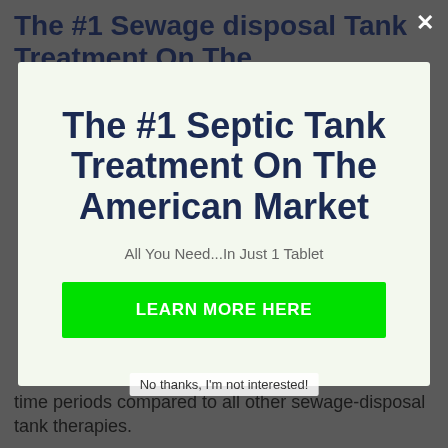The #1 Sewage disposal Tank Treatment On The
The #1 Septic Tank Treatment On The American Market
All You Need...In Just 1 Tablet
LEARN MORE HERE
time periods compared to all other sewage-disposal tank therapies.
No thanks, I'm not interested!